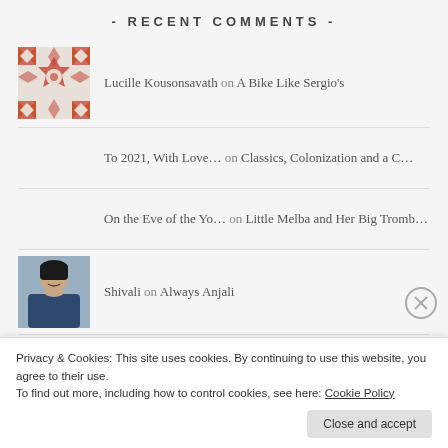- RECENT COMMENTS -
Lucille Kousonsavath on A Bike Like Sergio's
To 2021, With Love… on Classics, Colonization and a C…
On the Eve of the Yo… on Little Melba and Her Big Tromb…
Shivali on Always Anjali
Wanda Tapp-Kratzer on Excellent Black History Book S…
Privacy & Cookies: This site uses cookies. By continuing to use this website, you agree to their use.
To find out more, including how to control cookies, see here: Cookie Policy